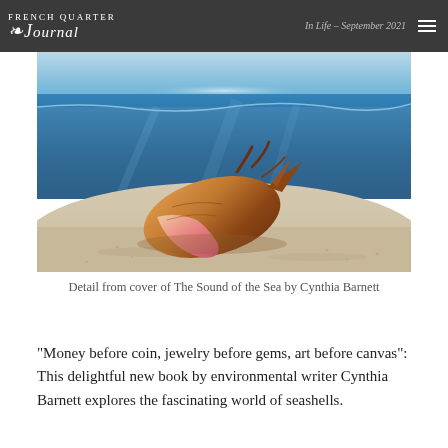French Quarter Journal — September 2021
[Figure (photo): Underwater photograph of a conch shell resting on white sand with blue ocean water above, detail from cover of The Sound of the Sea by Cynthia Barnett]
Detail from cover of The Sound of the Sea by Cynthia Barnett
"Money before coin, jewelry before gems, art before canvas": This delightful new book by environmental writer Cynthia Barnett explores the fascinating world of seashells.